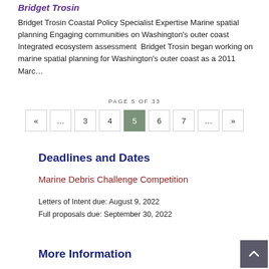Bridget Trosin
Bridget Trosin Coastal Policy Specialist Expertise Marine spatial planning Engaging communities on Washington's outer coast Integrated ecosystem assessment  Bridget Trosin began working on marine spatial planning for Washington's outer coast as a 2011 Marc…
PAGE 5 OF 33
« … 3 4 5 6 7 … »
Deadlines and Dates
Marine Debris Challenge Competition
Letters of Intent due: August 9, 2022
Full proposals due: September 30, 2022
More Information